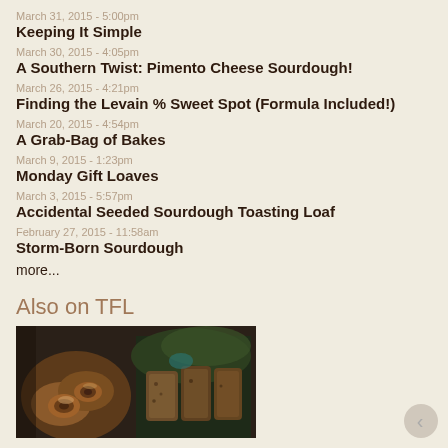March 31, 2015 - 5:00pm
Keeping It Simple
March 30, 2015 - 4:05pm
A Southern Twist: Pimento Cheese Sourdough!
March 26, 2015 - 4:21pm
Finding the Levain % Sweet Spot (Formula Included!)
March 20, 2015 - 4:54pm
A Grab-Bag of Bakes
March 9, 2015 - 1:23pm
Monday Gift Loaves
March 3, 2015 - 5:57pm
Accidental Seeded Sourdough Toasting Loaf
February 27, 2015 - 11:58am
Storm-Born Sourdough
more...
Also on TFL
[Figure (photo): Photo collage showing baked goods: cinnamon rolls on left and sliced bread loaves on right, dark moody tones]